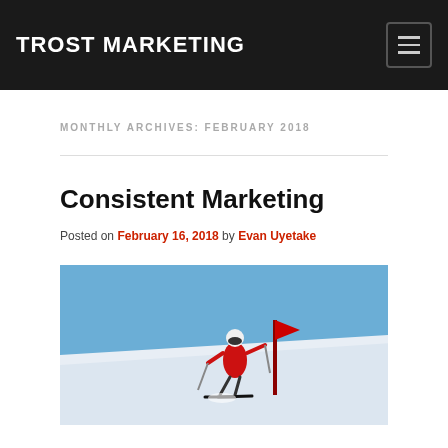TROST MARKETING
MONTHLY ARCHIVES: FEBRUARY 2018
Consistent Marketing
Posted on February 16, 2018 by Evan Uyetake
[Figure (photo): Alpine ski racer in red suit navigating a slalom gate on a snowy slope, blue sky background]